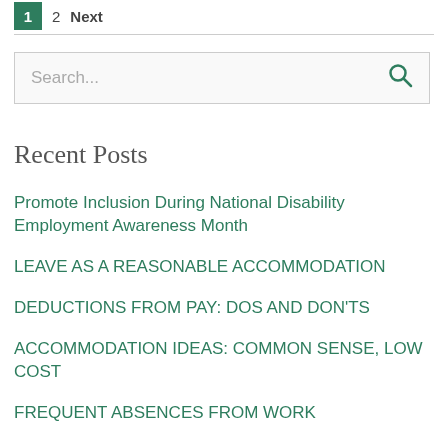1  2  Next
Search...
Recent Posts
Promote Inclusion During National Disability Employment Awareness Month
LEAVE AS A REASONABLE ACCOMMODATION
DEDUCTIONS FROM PAY: DOS AND DON'TS
ACCOMMODATION IDEAS: COMMON SENSE, LOW COST
FREQUENT ABSENCES FROM WORK